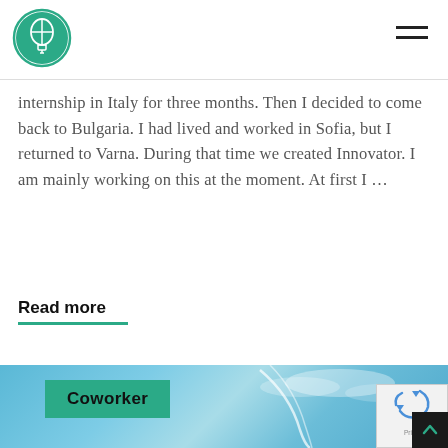Innovator logo and navigation menu
internship in Italy for three months. Then I decided to come back to Bulgaria. I had lived and worked in Sofia, but I returned to Varna. During that time we created Innovator. I am mainly working on this at the moment. At first I …
Read more
[Figure (photo): Photograph of a kite or similar object against a blue sky with clouds, with a green 'Coworker' label overlay in the bottom-left area of the image.]